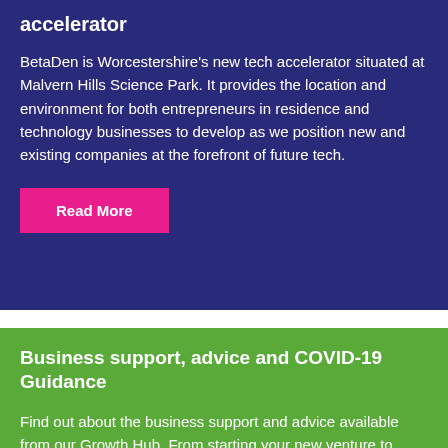accelerator
BetaDen is Worcestershire's new tech accelerator situated at Malvern Hills Science Park. It provides the location and environment for both entrepreneurs in residence and technology businesses to develop as we position new and existing companies at the forefront of future tech.
Read More
Business support, advice and COVID-19 Guidance
Find out about the business support and advice available from our Growth Hub. From starting your new venture to funding it